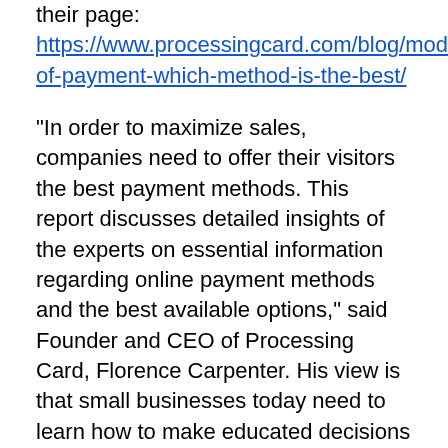their page: https://www.processingcard.com/blog/modes-of-payment-which-method-is-the-best/
“In order to maximize sales, companies need to offer their visitors the best payment methods. This report discusses detailed insights of the experts on essential information regarding online payment methods and the best available options,” said Founder and CEO of Processing Card, Florence Carpenter. His view is that small businesses today need to learn how to make educated decisions about the services and B2B software they choose.
As part of its efforts to assist small businesses, Processing Card offers recommendations and advice on the different services and software that would be best suited to their specific needs. It also discusses credit card processing solutions and